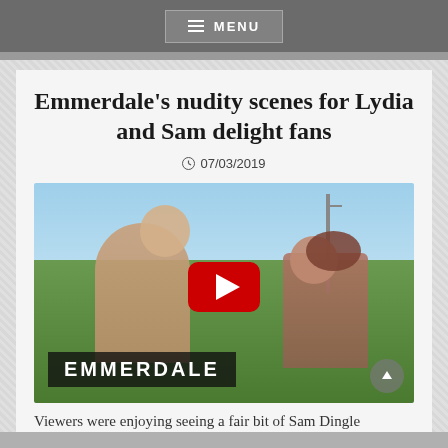MENU
Emmerdale's nudity scenes for Lydia and Sam delight fans
07/03/2019
[Figure (screenshot): Video thumbnail showing two people outdoors in a field with an Emmerdale branding overlay and a YouTube play button in the center]
Viewers were enjoying seeing a fair bit of Sam Dingle